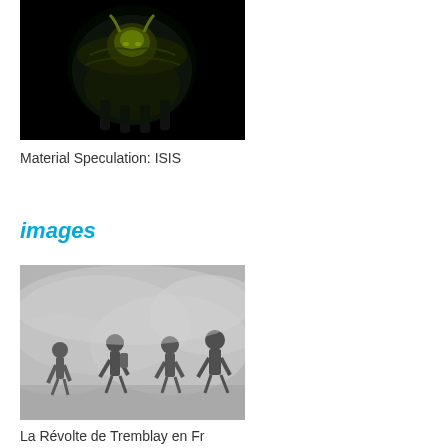[Figure (photo): Dark background photo of an ancient winged bull sculpture (lamassu), illuminated with greenish-yellow light against black background]
Material Speculation: ISIS
images
[Figure (photo): Misty/smoky scene showing people running in what appears to be a protest or riot situation, shrouded in tear gas or smoke]
La Révolte de Tremblay en Fr